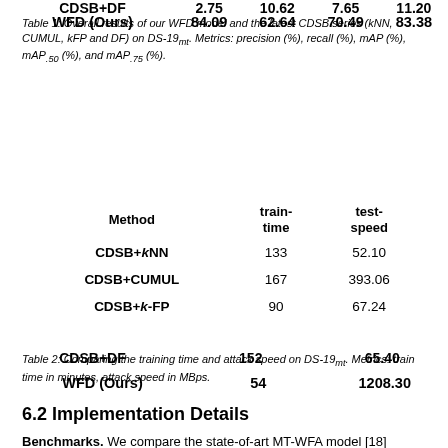| Method | train-time | test-speed |
| --- | --- | --- |
| CDSB+kNN | 133 | 52.10 |
| CDSB+CUMUL | 167 | 393.06 |
| CDSB+k-FP | 90 | 67.24 |
| CDSB+DF | 152 | 65.40 |
| WFD (Ours) | 54 | 1208.30 |
Table 1: Overall results of our WFD model and the latest CDSB series (kNN, CUMUL, kFP and DF) on DS-19mt. Metrics: precision (%), recall (%), mAP (%), mAP.50 (%), and mAP.75 (%).
Table 2: Comparing the training time and attack speed on DS-19mt. Metrics: train time in minutes, attack speed in MBps.
6.2 Implementation Details
Benchmarks. We compare the state-of-art MT-WFA model [18] originally proposed for tackling the GLUE defense. In particular, Gong et al. [18] took a two-stage strategy of split decision and split finding in the Coarse-Decided Score-Based (CDSB) framework. After single-tab traces are